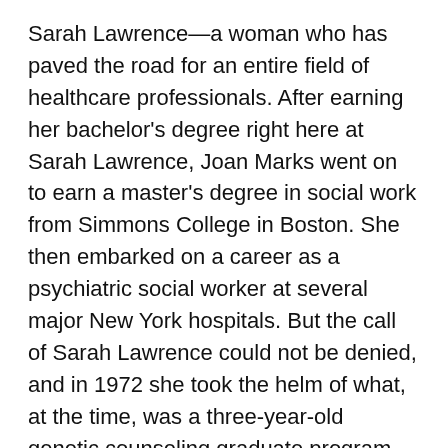Sarah Lawrence—a woman who has paved the road for an entire field of healthcare professionals. After earning her bachelor's degree right here at Sarah Lawrence, Joan Marks went on to earn a master's degree in social work from Simmons College in Boston. She then embarked on a career as a psychiatric social worker at several major New York hospitals. But the call of Sarah Lawrence could not be denied, and in 1972 she took the helm of what, at the time, was a three-year-old genetic counseling graduate program—the first in the nation.
She served as director for 26 years. And during that time the program grew to become the largest in the country, which it remains today.
Crafting curriculum, she focused on both the scientific